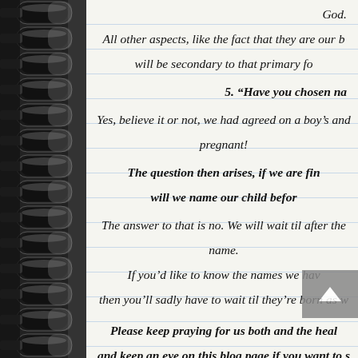God.
All other aspects, like the fact that they are our b will be secondary to that primary fo
5. “Have you chosen na
Yes, believe it or not, we had agreed on a boy’s and pregnant!
The question then arises, if we are fin will we name our child befor
The answer to that is no. We will wait til after the name.
If you’d like to know the names we hav then you’ll sadly have to wait til they’re born as w
Please keep praying for us both and the heal and keep an eye on this blog page if you want to s